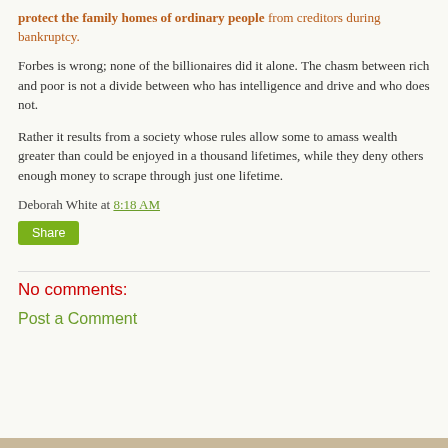protect the family homes of ordinary people from creditors during bankruptcy.
Forbes is wrong; none of the billionaires did it alone. The chasm between rich and poor is not a divide between who has intelligence and drive and who does not.
Rather it results from a society whose rules allow some to amass wealth greater than could be enjoyed in a thousand lifetimes, while they deny others enough money to scrape through just one lifetime.
Deborah White at 8:18 AM
Share
No comments:
Post a Comment